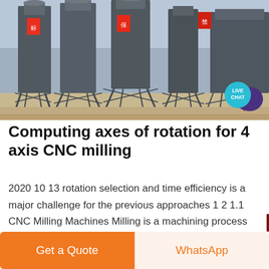[Figure (photo): Industrial facility with large metal silos and steel framework structures, photographed outdoors. Chinese signage visible on some elements.]
Computing axes of rotation for 4 axis CNC milling
2020 10 13 rotation selection and time efficiency is a major challenge for the previous approaches 1 2 1.1 CNC Milling Machines Milling is a machining process using rotary cutters to remove material from a workpiece advancing or feeding in a direction with the axis of the tool 3 5 Figure 1a .